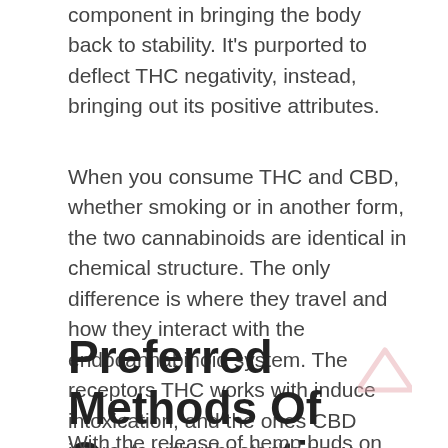component in bringing the body back to stability. It's purported to deflect THC negativity, instead, bringing out its positive attributes.
When you consume THC and CBD, whether smoking or in another form, the two cannabinoids are identical in chemical structure. The only difference is where they travel and how they interact with the endocannabinoid system. The receptors THC works with induce intoxication, and the ones CBD interacts with reboots the body systems to bring everything back into a state of balance.
Preferred Methods Of Consumption
With the release of hemp buds on the market